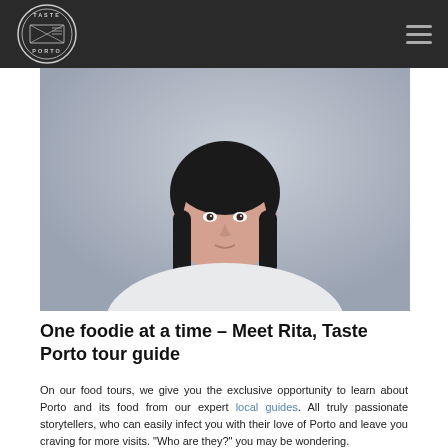[Figure (logo): Taste Porto circular stamp-style logo in white on dark background]
[Figure (photo): Portrait photo of Rita, a woman with dark shoulder-length hair, smiling slightly, wearing a white top with olive collar, against a grey-blue background]
One foodie at a time – Meet Rita, Taste Porto tour guide
On our food tours, we give you the exclusive opportunity to learn about Porto and its food from our expert local guides. All truly passionate storytellers, who can easily infect you with their love of Porto and leave you craving for more visits. "Who are they?" you may be wondering.